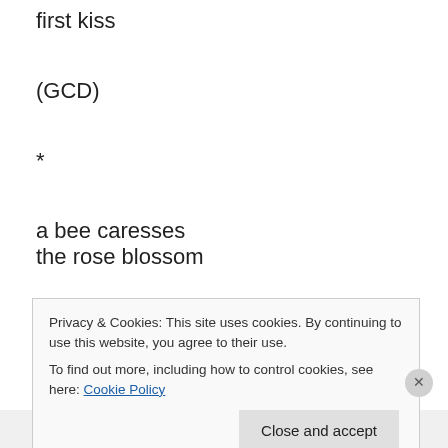first kiss
(GCD)
*
a bee caresses
the rose blossom
(MM)
*
dawn light
Privacy & Cookies: This site uses cookies. By continuing to use this website, you agree to their use.
To find out more, including how to control cookies, see here: Cookie Policy
Professionally designed sites